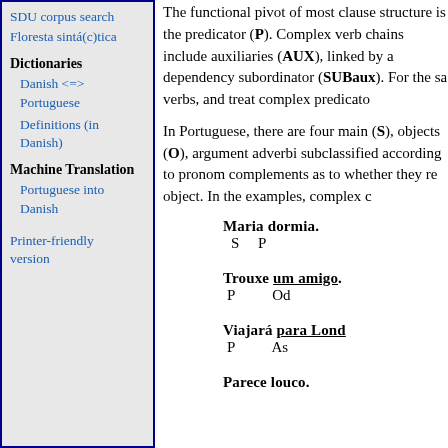SDU corpus search
Floresta sintá(c)tica
Dictionaries
Danish <=> Portuguese
Definitions (in Danish)
Machine Translation
Portuguese into Danish
Printer-friendly version
The functional pivot of most clause structure is the predicator (P). Complex verb chains include auxiliaries (AUX), linked by a dependency subordinator (SUBaux). For the sa verbs, and treat complex predicato
In Portuguese, there are four main (S), objects (O), argument adverbi subclassified according to pronom complements as to whether they re object. In the examples, complex c
Maria dormia.
S    P
Trouxe um amigo.
P         Od
Viajará para Lond
P         As
Parece louco.